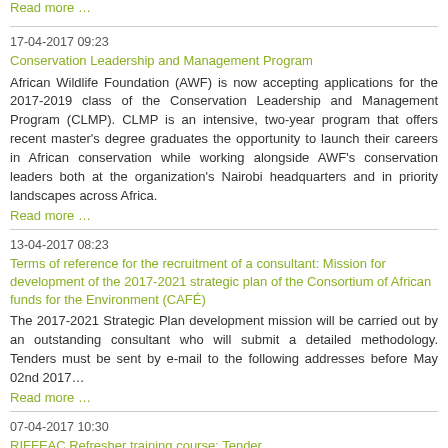Read more …
17-04-2017 09:23
Conservation Leadership and Management Program
African Wildlife Foundation (AWF) is now accepting applications for the 2017-2019 class of the Conservation Leadership and Management Program (CLMP). CLMP is an intensive, two-year program that offers recent master's degree graduates the opportunity to launch their careers in African conservation while working alongside AWF's conservation leaders both at the organization's Nairobi headquarters and in priority landscapes across Africa.
Read more …
13-04-2017 08:23
Terms of reference for the recruitment of a consultant: Mission for development of the 2017-2021 strategic plan of the Consortium of African funds for the Environment (CAFÉ)
The 2017-2021 Strategic Plan development mission will be carried out by an outstanding consultant who will submit a detailed methodology. Tenders must be sent by e-mail to the following addresses before May 02nd 2017…
Read more …
07-04-2017 10:30
RIFFEAC Refresher training course: Tender
The training course is part of the PARAFE project aimed at developing a "model profile" of drying operators.  Gaps have been observed in timber drying operators' ability to respond adequately to changes in starting conditions (exceptionally high atmospheric humidity, sawn timber with clearly atypical dimensions …) coupled with little to complete absence of information relevant to assessing what drying parameters should be adjusted in order to produce the usual outcome in less time. Date and venue of training course: 21 to 28 July 2017 in Douala (Cameroon).